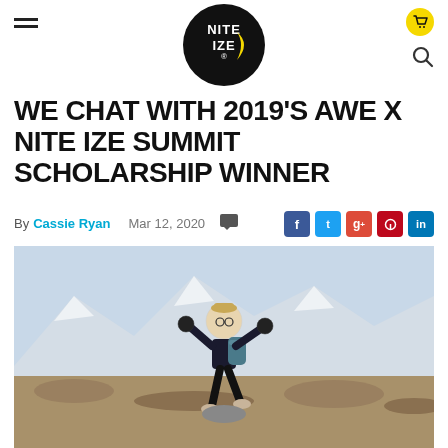Nite Ize logo header with hamburger menu, cart, and search icons
WE CHAT WITH 2019'S AWE X NITE IZE SUMMIT SCHOLARSHIP WINNER
By Cassie Ryan   Mar 12, 2020
[Figure (photo): Woman hiker with backpack, arms outstretched, posing joyfully on rocky mountain terrain with snowy peaks in background]